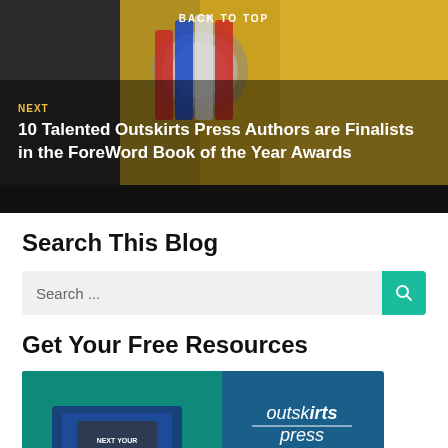BACK TO TOP
[Figure (photo): Hero banner with a ribbon/medal award image on a gold and dark background, with navigation text 'NEXT' and article title '10 Talented Outskirts Press Authors are Finalists in the ForeWord Book of the Year Awards']
Search This Blog
Search ...
Get Your Free Resources
[Figure (photo): Outskirts Press promotional image showing a book box and the text 'outskirts press' with 'TOP 7 Marketing Elements']